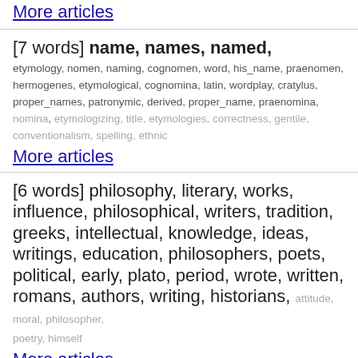More articles
[7 words] name, names, named,
etymology, nomen, naming, cognomen, word, his_name, praenomen, hermogenes, etymological, cognomina, latin, wordplay, cratylus, proper_names, patronymic, derived, proper_name, praenomina, nomina, etymologizing, title, etymologies, correctness, gentile, conventionalism, spelling, ethnic
More articles
[6 words] philosophy, literary, works, influence, philosophical, writers, tradition, greeks, intellectual, knowledge, ideas, writings, education, philosophers, poets, political, early, plato, period, wrote, written, romans, authors, writing, historians, attitude, moral, philosopher, poetry, himself
More articles
[6 words] verse, accent, syllable, foot, words, word, metrical, syllables, latin, short, caesura, rhythm, line, ictus, hexameter, elision, hiatus, feet, lines, verses, iambic, prose, pause,